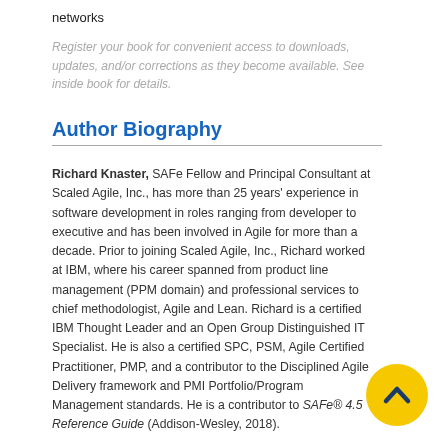networks
Register your book for convenient access to downloads, updates, and/or corrections as they become available. See inside book for details.
Author Biography
Richard Knaster, SAFe Fellow and Principal Consultant at Scaled Agile, Inc., has more than 25 years' experience in software development in roles ranging from developer to executive and has been involved in Agile for more than a decade. Prior to joining Scaled Agile, Inc., Richard worked at IBM, where his career spanned from product line management (PPM domain) and professional services to chief methodologist, Agile and Lean. Richard is a certified IBM Thought Leader and an Open Group Distinguished IT Specialist. He is also a certified SPC, PSM, Agile Certified Practitioner, PMP, and a contributor to the Disciplined Agile Delivery framework and PMI Portfolio/Program Management standards. He is a contributor to SAFe® 4.5 Reference Guide (Addison-Wesley, 2018).
[Figure (illustration): Yellow circular button with a dark blue upward chevron/caret arrow icon]